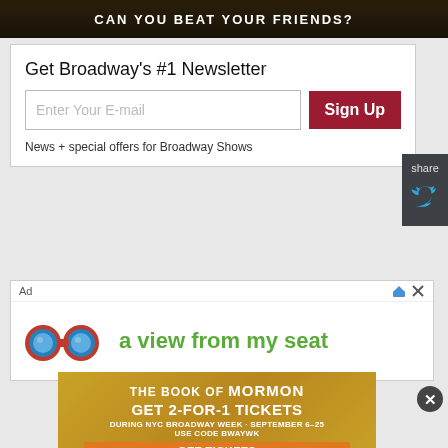[Figure (screenshot): Dark banner with text 'CAN YOU BEAT YOUR FRIENDS?' in white stylized font on dark background]
Get Broadway's #1 Newsletter
Enter Your E-mail
Sign Up
News + special offers for Broadway Shows
share
[Figure (logo): Twitter bird icon in cyan/blue on dark gray share panel]
Ad
[Figure (illustration): Red binoculars logo with blue lenses next to green text 'a view from my seat']
[Figure (illustration): The Book of Mormon advertisement - GET 2-FOR-1 TICKETS DURING NYC BROADWAY WEEK - SEPTEMBER 6-25 USE CODE BWAYWK GET TICKETS]